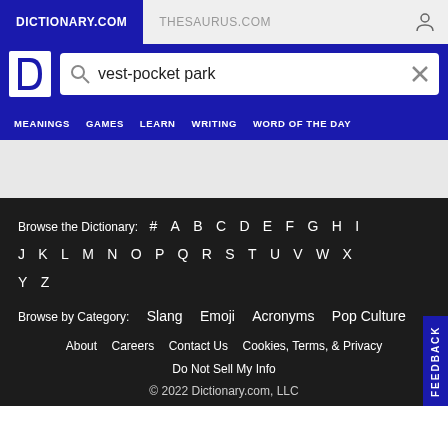DICTIONARY.COM | THESAURUS.COM
[Figure (screenshot): Dictionary.com logo with white D on blue background]
vest-pocket park
MEANINGS  GAMES  LEARN  WRITING  WORD OF THE DAY
Browse the Dictionary:  #  A  B  C  D  E  F  G  H  I  J  K  L  M  N  O  P  Q  R  S  T  U  V  W  X  Y  Z
Browse by Category:  Slang  Emoji  Acronyms  Pop Culture
About  Careers  Contact Us  Cookies, Terms, & Privacy
Do Not Sell My Info
© 2022 Dictionary.com, LLC